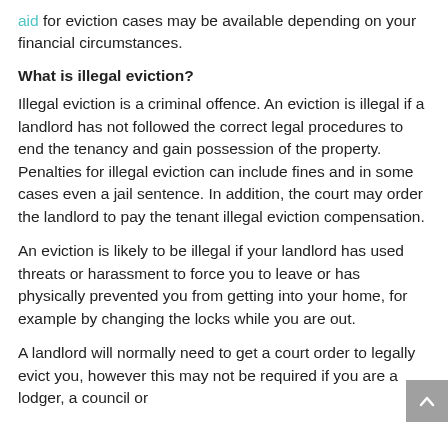aid for eviction cases may be available depending on your financial circumstances.
What is illegal eviction?
Illegal eviction is a criminal offence. An eviction is illegal if a landlord has not followed the correct legal procedures to end the tenancy and gain possession of the property. Penalties for illegal eviction can include fines and in some cases even a jail sentence. In addition, the court may order the landlord to pay the tenant illegal eviction compensation.
An eviction is likely to be illegal if your landlord has used threats or harassment to force you to leave or has physically prevented you from getting into your home, for example by changing the locks while you are out.
A landlord will normally need to get a court order to legally evict you, however this may not be required if you are a lodger, a council or